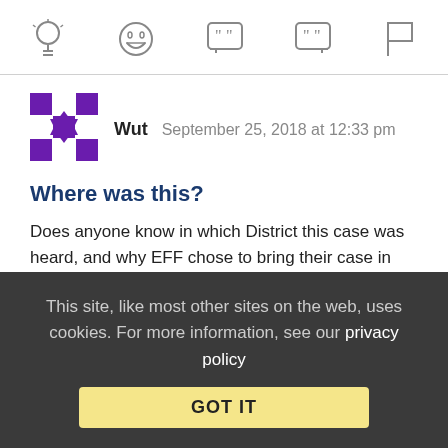[Figure (other): Icon toolbar with five icons: lightbulb, laughing face emoji, open quote speech bubble, close quote speech bubble, and flag]
[Figure (photo): Purple and white geometric avatar for user Wut]
Wut   September 25, 2018 at 12:33 pm
Where was this?
Does anyone know in which District this case was heard, and why EFF chose to bring their case in that venue?
Collapse replies (2) | Reply | View in chronology
This site, like most other sites on the web, uses cookies. For more information, see our privacy policy GOT IT